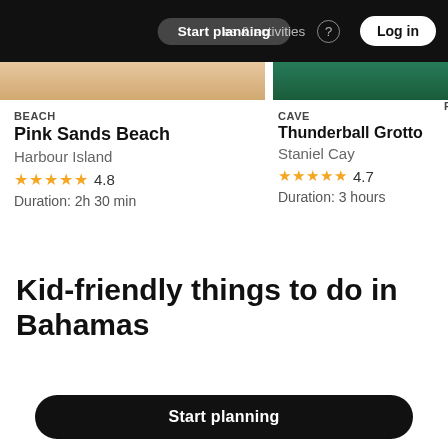Start planning | places & activities | Log in
BEACH
Pink Sands Beach
Harbour Island
★★★★★ 4.8
Duration: 2h 30 min
CAVE
Thunderball Grotto
Staniel Cay
★★★★★ 4.7
Duration: 3 hours
Kid-friendly things to do in Bahamas
[Figure (screenshot): Partial bottom image strip with beach and ocean thumbnails]
Start planning